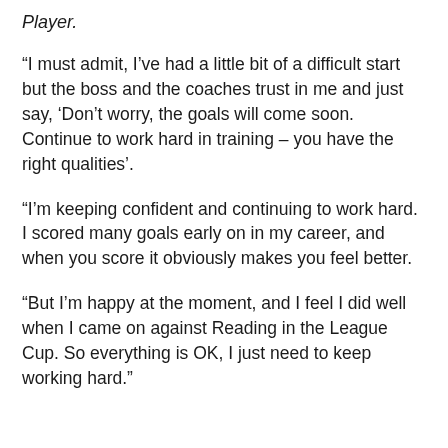Player.
“I must admit, I’ve had a little bit of a difficult start but the boss and the coaches trust in me and just say, ‘Don’t worry, the goals will come soon. Continue to work hard in training – you have the right qualities’.
“I’m keeping confident and continuing to work hard. I scored many goals early on in my career, and when you score it obviously makes you feel better.
“But I’m happy at the moment, and I feel I did well when I came on against Reading in the League Cup. So everything is OK, I just need to keep working hard.”